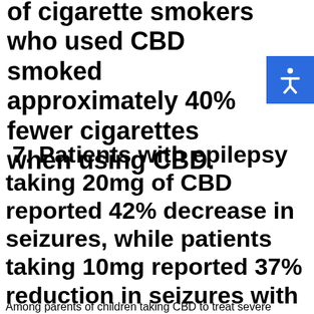of cigarette smokers who used CBD smoked approximately 40% fewer cigarettes when using CBD.
7. Patients with epilepsy taking 20mg of CBD reported 42% decrease in seizures, while patients taking 10mg reported 37% reduction in seizures with fewer side effects.
Among parents of children taking CBD to treat severe